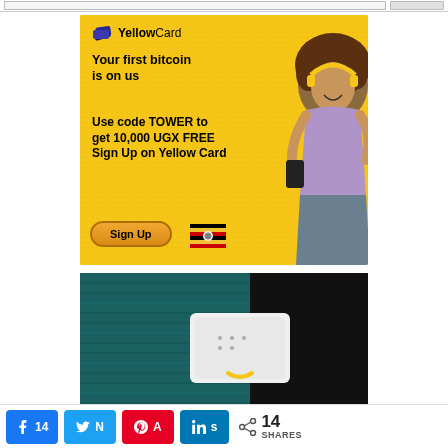[Figure (screenshot): Top navigation bar with search input and button]
[Figure (infographic): YellowCard advertisement banner with yellow dotted background. Logo with card icon and 'YellowCard' text. Headline: 'Your first bitcoin is on us'. Promo text: 'Use code TOWER to get 10,000 UGX FREE Sign Up on Yellow Card'. Sign Up button in orange. Uganda flag emoji. Woman with headphones on right side.]
[Figure (photo): Close-up photo of hands holding a white WiFi/router device against a dark teal knit sweater background]
[Figure (infographic): Social share bar with Facebook (14), Twitter, Pinterest, LinkedIn buttons and total 14 SHARES counter]